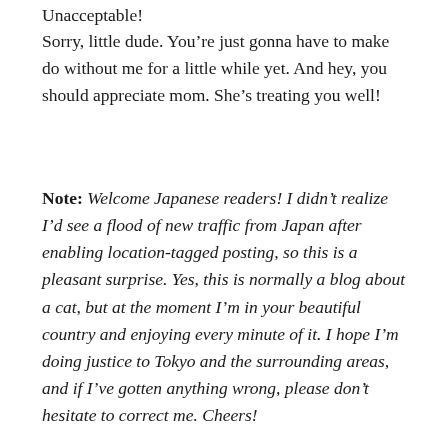Unacceptable!
Sorry, little dude. You're just gonna have to make do without me for a little while yet. And hey, you should appreciate mom. She's treating you well!
Note: Welcome Japanese readers! I didn't realize I'd see a flood of new traffic from Japan after enabling location-tagged posting, so this is a pleasant surprise. Yes, this is normally a blog about a cat, but at the moment I'm in your beautiful country and enjoying every minute of it. I hope I'm doing justice to Tokyo and the surrounding areas, and if I've gotten anything wrong, please don't hesitate to correct me. Cheers!